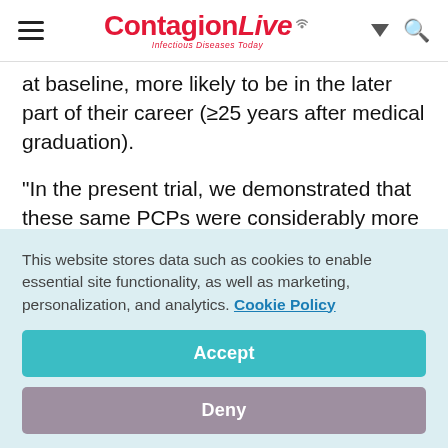ContagionLive — Infectious Diseases Today
at baseline, more likely to be in the later part of their career (≥25 years after medical graduation).
"In the present trial, we demonstrated that these same PCPs were considerably more likely to change their behavior in response to feedback." Schwartz and colleagues indicated
This website stores data such as cookies to enable essential site functionality, as well as marketing, personalization, and analytics. Cookie Policy
Accept
Deny